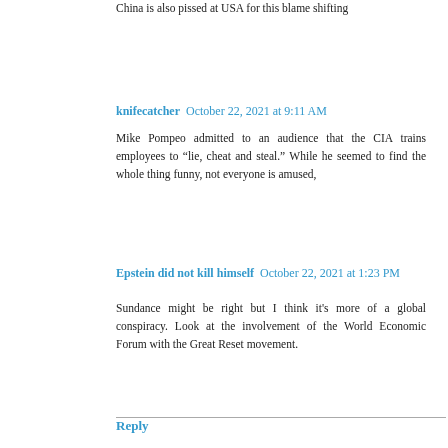China is also pissed at USA for this blame shifting
knifecatcher  October 22, 2021 at 9:11 AM
Mike Pompeo admitted to an audience that the CIA trains employees to “lie, cheat and steal.” While he seemed to find the whole thing funny, not everyone is amused,
Epstein did not kill himself  October 22, 2021 at 1:23 PM
Sundance might be right but I think it's more of a global conspiracy. Look at the involvement of the World Economic Forum with the Great Reset movement.
Reply